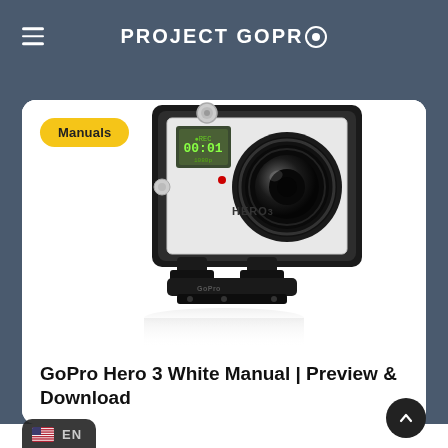PROJECT GOPRO
[Figure (photo): GoPro Hero 3 camera in waterproof housing mounted on a base, shown on a white background with a yellow 'Manuals' badge in the top-left corner of the card.]
GoPro Hero 3 White Manual | Preview & Download